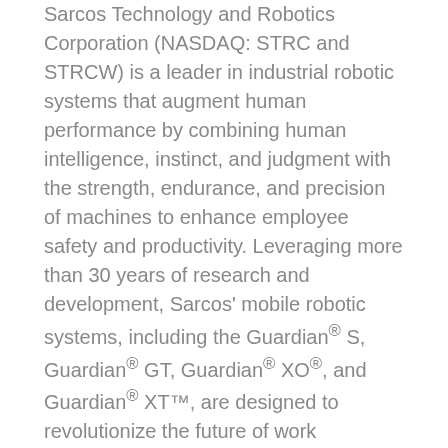Sarcos Technology and Robotics Corporation (NASDAQ: STRC and STRCW) is a leader in industrial robotic systems that augment human performance by combining human intelligence, instinct, and judgment with the strength, endurance, and precision of machines to enhance employee safety and productivity. Leveraging more than 30 years of research and development, Sarcos' mobile robotic systems, including the Guardian® S, Guardian® GT, Guardian® XO®, and Guardian® XT™, are designed to revolutionize the future of work wherever physically demanding work is done. Sarcos is based in Salt Lake City, Utah. For more information, please visit www.sarcos.com.
Forward-Looking Statements
This press release contains forward-looking statements within the meaning of the Private Securities Litigation Reform Act of 1995, including, but not limited to, Sarcos' product roadmap, including the expected timing of commercialization or new product releases, Sarcos' plans